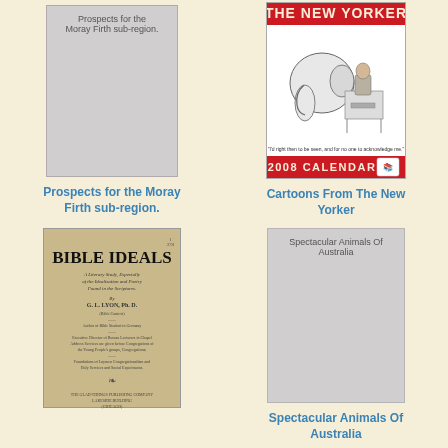[Figure (illustration): Book cover placeholder (grey) with text 'Prospects for the Moray Firth sub-region.' in dark color]
Prospects for the Moray Firth sub-region.
[Figure (illustration): The New Yorker 2008 Calendar cover with cartoon of elephant in office and red banner at bottom]
Cartoons From The New Yorker
[Figure (illustration): Bible Ideals book cover in tan/beige color with title in bold, author G.L. Lyon Ph.D., ornament, and publisher details]
[Figure (illustration): Book cover placeholder (grey) with text 'Spectacular Animals Of Australia']
Spectacular Animals Of Australia